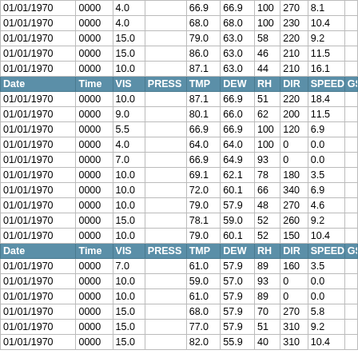| Date | Time | VIS | PRESS | TMP | DEW | RH | DIR | SPEED | GS |
| --- | --- | --- | --- | --- | --- | --- | --- | --- | --- |
| 01/01/1970 | 0000 | 4.0 |  | 66.9 | 66.9 | 100 | 270 | 8.1 |  |
| 01/01/1970 | 0000 | 4.0 |  | 68.0 | 68.0 | 100 | 230 | 10.4 |  |
| 01/01/1970 | 0000 | 15.0 |  | 79.0 | 63.0 | 58 | 220 | 9.2 |  |
| 01/01/1970 | 0000 | 15.0 |  | 86.0 | 63.0 | 46 | 210 | 11.5 |  |
| 01/01/1970 | 0000 | 10.0 |  | 87.1 | 63.0 | 44 | 210 | 16.1 |  |
| 01/01/1970 | 0000 | 10.0 |  | 87.1 | 66.9 | 51 | 220 | 18.4 |  |
| 01/01/1970 | 0000 | 9.0 |  | 80.1 | 66.0 | 62 | 200 | 11.5 |  |
| 01/01/1970 | 0000 | 5.5 |  | 66.9 | 66.9 | 100 | 120 | 6.9 |  |
| 01/01/1970 | 0000 | 4.0 |  | 64.0 | 64.0 | 100 | 0 | 0.0 |  |
| 01/01/1970 | 0000 | 7.0 |  | 66.9 | 64.9 | 93 | 0 | 0.0 |  |
| 01/01/1970 | 0000 | 10.0 |  | 69.1 | 62.1 | 78 | 180 | 3.5 |  |
| 01/01/1970 | 0000 | 10.0 |  | 72.0 | 60.1 | 66 | 340 | 6.9 |  |
| 01/01/1970 | 0000 | 10.0 |  | 79.0 | 57.9 | 48 | 270 | 4.6 |  |
| 01/01/1970 | 0000 | 15.0 |  | 78.1 | 59.0 | 52 | 260 | 9.2 |  |
| 01/01/1970 | 0000 | 10.0 |  | 79.0 | 60.1 | 52 | 150 | 10.4 |  |
| 01/01/1970 | 0000 | 7.0 |  | 61.0 | 57.9 | 89 | 160 | 3.5 |  |
| 01/01/1970 | 0000 | 10.0 |  | 59.0 | 57.0 | 93 | 0 | 0.0 |  |
| 01/01/1970 | 0000 | 10.0 |  | 61.0 | 57.9 | 89 | 0 | 0.0 |  |
| 01/01/1970 | 0000 | 15.0 |  | 68.0 | 57.9 | 70 | 270 | 5.8 |  |
| 01/01/1970 | 0000 | 15.0 |  | 77.0 | 57.9 | 51 | 310 | 9.2 |  |
| 01/01/1970 | 0000 | 15.0 |  | 82.0 | 55.9 | 40 | 310 | 10.4 |  |